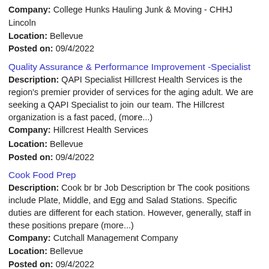Company: College Hunks Hauling Junk & Moving - CHHJ Lincoln
Location: Bellevue
Posted on: 09/4/2022
Quality Assurance & Performance Improvement -Specialist
Description: QAPI Specialist Hillcrest Health Services is the region's premier provider of services for the aging adult. We are seeking a QAPI Specialist to join our team. The Hillcrest organization is a fast paced, (more...)
Company: Hillcrest Health Services
Location: Bellevue
Posted on: 09/4/2022
Cook Food Prep
Description: Cook br br Job Description br The cook positions include Plate, Middle, and Egg and Salad Stations. Specific duties are different for each station. However, generally, staff in these positions prepare (more...)
Company: Cutchall Management Company
Location: Bellevue
Posted on: 09/4/2022
Dining Server - Full time
Description: description that appears cut off at bottom of page